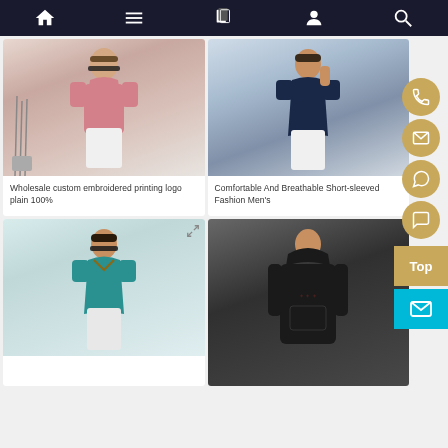Navigation bar with home, menu, catalog, profile, search icons
[Figure (photo): Man wearing pink polo shirt with sunglasses and golf clubs]
Wholesale custom embroidered printing logo plain 100%
[Figure (photo): Man wearing navy blue short-sleeved t-shirt]
Comfortable And Breathable Short-sleeved Fashion Men's
[Figure (photo): Man wearing teal polo shirt with checkered collar and sunglasses]
[Figure (photo): Man wearing black hoodie sweatshirt]
[Figure (other): Side floating contact buttons: phone, email, WhatsApp, WeChat, Top button, mail button]